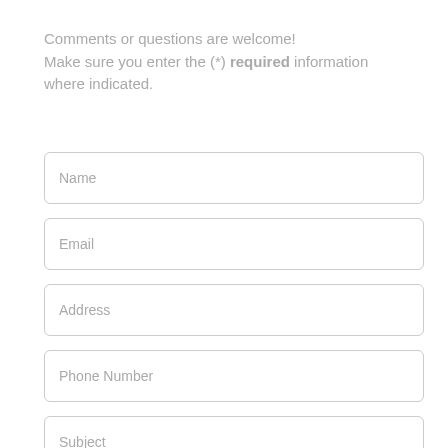Comments or questions are welcome! Make sure you enter the (*) required information where indicated.
Name
Email
Address
Phone Number
Subject
Message